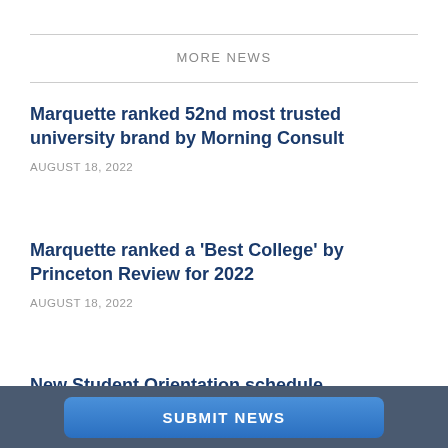MORE NEWS
Marquette ranked 52nd most trusted university brand by Morning Consult
AUGUST 18, 2022
Marquette ranked a 'Best College' by Princeton Review for 2022
AUGUST 18, 2022
New Student Orientation schedule
AUGUST 18, 2022
SUBMIT NEWS